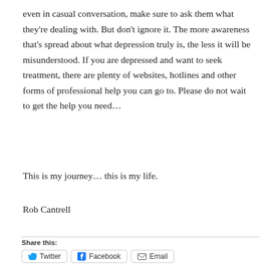even in casual conversation, make sure to ask them what they're dealing with. But don't ignore it. The more awareness that's spread about what depression truly is, the less it will be misunderstood. If you are depressed and want to seek treatment, there are plenty of websites, hotlines and other forms of professional help you can go to. Please do not wait to get the help you need…
This is my journey… this is my life.
Rob Cantrell
Share this:
Twitter  Facebook  Email